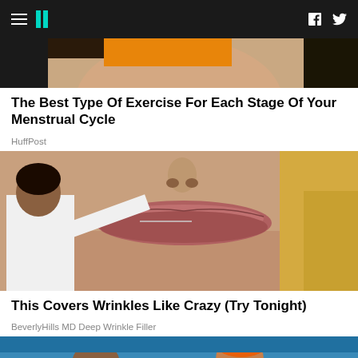HuffPost navigation header with hamburger menu, logo, Facebook and Twitter icons
[Figure (photo): Partial photo of a woman at the top of the page, cropped showing neck/lower face area with orange/warm tones]
The Best Type Of Exercise For Each Stage Of Your Menstrual Cycle
HuffPost
[Figure (photo): Close-up photo of a woman's lips and lower face with a man in white shirt appearing to inject or treat her lips with a needle/filler]
This Covers Wrinkles Like Crazy (Try Tonight)
BeverlyHills MD Deep Wrinkle Filler
[Figure (photo): Partial photo at the bottom showing two people in a colorful room setting, cropped]